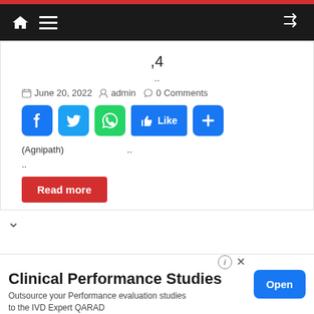Navigation bar with home, menu, and shuffle icons
,4
..
June 20, 2022  admin  0 Comments
[Figure (screenshot): Social share buttons: Facebook, Twitter, WhatsApp, Like, Plus]
(Agnipath) ..
..
Read more
Clinical Performance Studies
Outsource your Performance evaluation studies to the IVD Expert QARAD